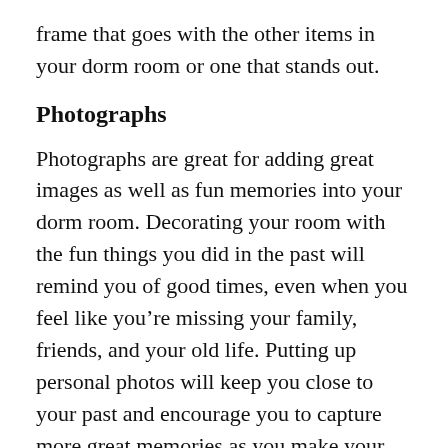frame that goes with the other items in your dorm room or one that stands out.
Photographs
Photographs are great for adding great images as well as fun memories into your dorm room. Decorating your room with the fun things you did in the past will remind you of good times, even when you feel like you’re missing your family, friends, and your old life. Putting up personal photos will keep you close to your past and encourage you to capture more great memories as you make your way through college!